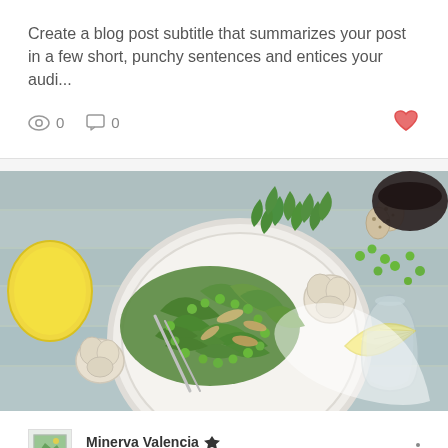Create a blog post subtitle that summarizes your post in a few short, punchy sentences and entices your audi...
0   0
[Figure (photo): Overhead shot of a green salad with arugula, peas, lemon slices and almonds on a white plate, surrounded by garlic, herbs and a glass carafe on a rustic wooden table.]
Minerva Valencia  Jul 12, 2018 · 2 min